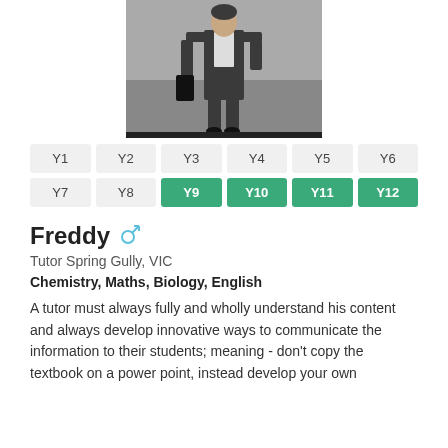[Figure (photo): Photo of a man in a dark suit standing outdoors, holding what appears to be a black case or bag]
Y1 Y2 Y3 Y4 Y5 Y6 Y7 Y8 Y9 Y10 Y11 Y12 (year level buttons, Y9–Y12 highlighted in green)
Freddy
Tutor Spring Gully, VIC
Chemistry, Maths, Biology, English
A tutor must always fully and wholly understand his content and always develop innovative ways to communicate the information to their students; meaning - don't copy the textbook on a power point, instead develop your own